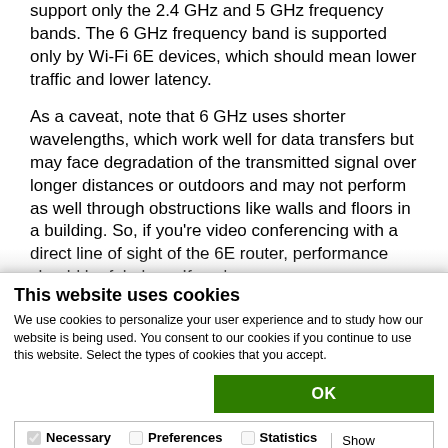support only the 2.4 GHz and 5 GHz frequency bands. The 6 GHz frequency band is supported only by Wi-Fi 6E devices, which should mean lower traffic and lower latency.
As a caveat, note that 6 GHz uses shorter wavelengths, which work well for data transfers but may face degradation of the transmitted signal over longer distances or outdoors and may not perform as well through obstructions like walls and floors in a building. So, if you're video conferencing with a direct line of sight of the 6E router, performance should be fabulous. If you're
This website uses cookies
We use cookies to personalize your user experience and to study how our website is being used. You consent to our cookies if you continue to use this website. Select the types of cookies that you accept.
OK
Necessary  Preferences  Statistics  Show details  Marketing